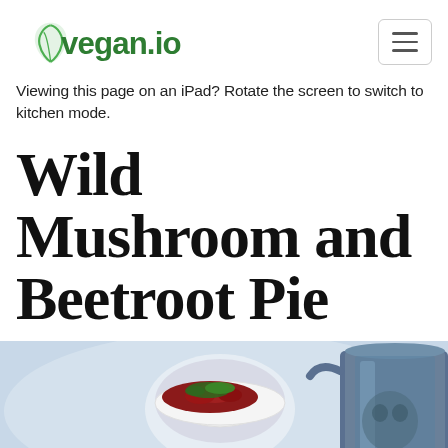vegan.io
Viewing this page on an iPad? Rotate the screen to switch to kitchen mode.
Wild Mushroom and Beetroot Pie
[Figure (photo): Food photograph showing a wild mushroom and beetroot pie with green herb garnish in a pastry crust in the foreground, a white bowl of beetroot salad with green herbs in the background, and a blue metal jug on the right side.]